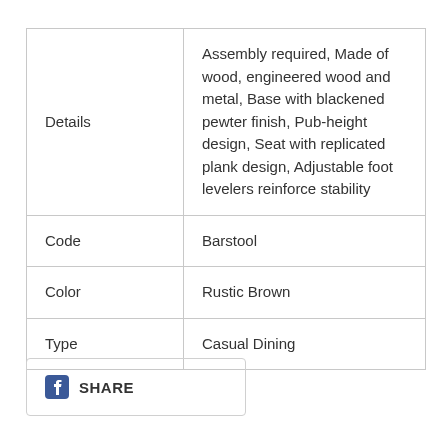| Details | Assembly required, Made of wood, engineered wood and metal, Base with blackened pewter finish, Pub-height design, Seat with replicated plank design, Adjustable foot levelers reinforce stability |
| Code | Barstool |
| Color | Rustic Brown |
| Type | Casual Dining |
[Figure (other): Facebook Share button with Facebook logo icon and SHARE text, inside a rounded rectangle border]